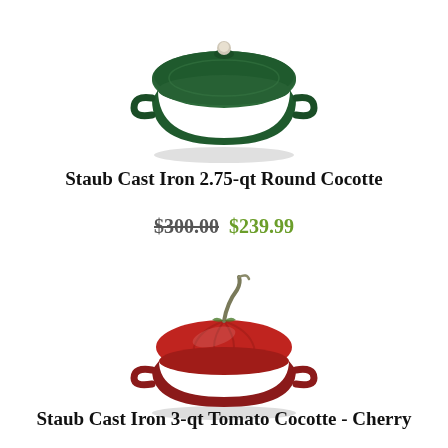[Figure (photo): Staub Cast Iron round cocotte in dark green color with lid knob, viewed from slightly above]
Staub Cast Iron 2.75-qt Round Cocotte
$300.00  $239.99
[Figure (photo): Staub Cast Iron tomato-shaped cocotte in cherry red color with stem handle on lid]
Staub Cast Iron 3-qt Tomato Cocotte - Cherry